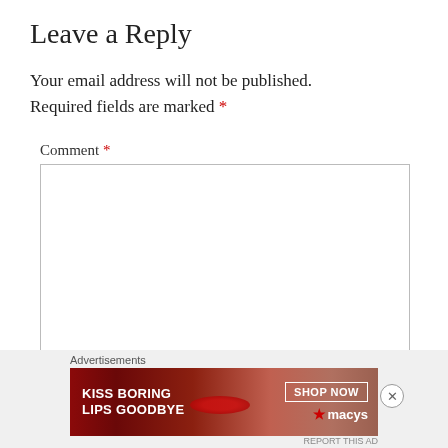Leave a Reply
Your email address will not be published. Required fields are marked *
Comment *
[Figure (screenshot): A comment textarea input box, empty, with a resize handle at bottom-right]
Advertisements
[Figure (photo): Macy's advertisement banner: 'KISS BORING LIPS GOODBYE' with a woman's face and red lips, SHOP NOW button, macys logo with star]